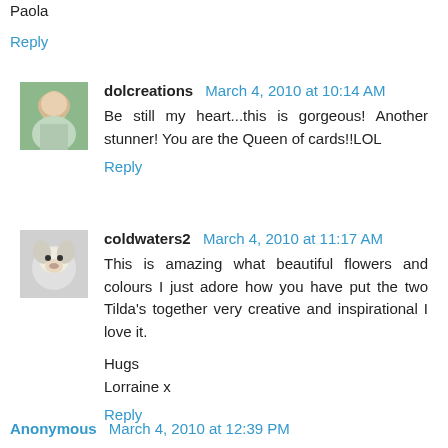Paola
Reply
dolcreations March 4, 2010 at 10:14 AM
Be still my heart...this is gorgeous! Another stunner! You are the Queen of cards!!LOL
Reply
coldwaters2 March 4, 2010 at 11:17 AM
This is amazing what beautiful flowers and colours I just adore how you have put the two Tilda's together very creative and inspirational I love it.

Hugs
Lorraine x
Reply
Anonymous March 4, 2010 at 12:39 PM